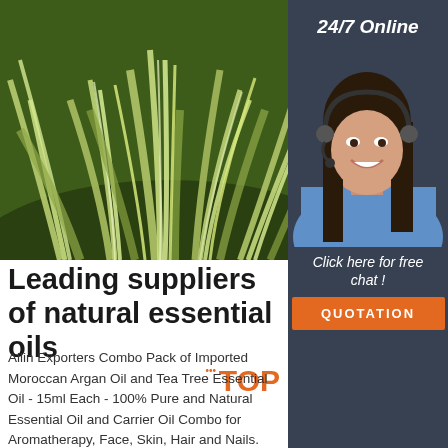[Figure (photo): Close-up photograph of green grass-like plant with long, narrow pale green and white striped leaves (likely lemongrass or similar plant used for essential oils)]
[Figure (photo): Customer service agent: smiling woman with dark hair wearing a headset, in a blue shirt, on a dark background with '24/7 Online' and 'Click here for free chat!' and 'QUOTATION' button]
Leading suppliers of natural essential oils
Allin Exporters Combo Pack of Imported Moroccan Argan Oil and Tea Tree Essential Oil - 15ml Each - 100% Pure and Natural Essential Oil and Carrier Oil Combo for Aromatherapy, Face, Skin, Hair and Nails. Rs 538.00 Rs 553.00. 9 in 1 Combo Aromatherapy Therapeutic Grade Aroma Essential Oils for Diffuser and Oil Burner.